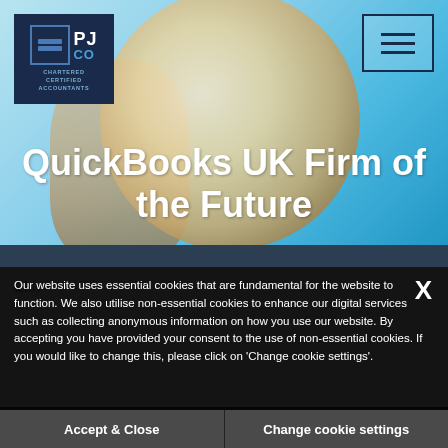[Figure (screenshot): PJ Co Chartered Certified Accountants logo in dark navy box, top-left of hero image]
[Figure (screenshot): Hamburger menu button (three horizontal lines) in top-right corner with dark border]
QuickBooks UK Firm of the Future
Our website uses essential cookies that are fundamental for the website to function. We also utilise non-essential cookies to enhance our digital services such as collecting anonymous information on how you use our website. By accepting you have provided your consent to the use of non-essential cookies. If you would like to change this, please click on 'Change cookie settings'.
Accept & Close
Change cookie settings
form of tax relief. Full first-year allowances...